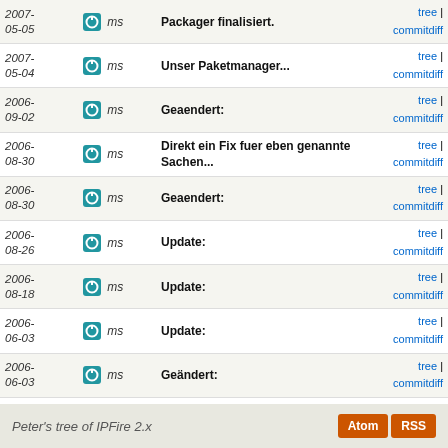| Date | Author | Message | Links |
| --- | --- | --- | --- |
| 2007-05-05 | ms | Packager finalisiert. | tree | commitdiff |
| 2007-05-04 | ms | Unser Paketmanager... | tree | commitdiff |
| 2006-09-02 | ms | Geaendert: | tree | commitdiff |
| 2006-08-30 | ms | Direkt ein Fix fuer eben genannte Sachen... | tree | commitdiff |
| 2006-08-30 | ms | Geaendert: | tree | commitdiff |
| 2006-08-26 | ms | Update: | tree | commitdiff |
| 2006-08-18 | ms | Update: | tree | commitdiff |
| 2006-06-03 | ms | Update: | tree | commitdiff |
| 2006-06-03 | ms | Geändert: | tree | commitdiff |
| 2006-05-20 | ms | Hinzugefügt: | tree | commitdiff |
| 2006-05-20 | ms | Hinzugefügt: | tree | commitdiff |
Peter's tree of IPFire 2.x